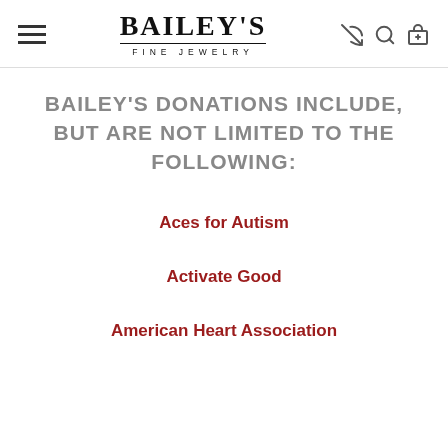BAILEY'S FINE JEWELRY
BAILEY'S DONATIONS INCLUDE, BUT ARE NOT LIMITED TO THE FOLLOWING:
Aces for Autism
Activate Good
American Heart Association